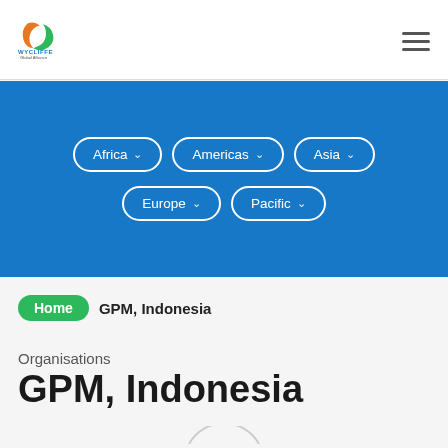[Figure (logo): Wycliffe Global Alliance logo with orange and green swoosh icon and text 'WYCLIFFE Global Alliance']
[Figure (other): Hamburger menu icon (three horizontal lines) in top right corner]
[Figure (other): Blue navigation region with region selector buttons: Africa, Americas, Asia, Europe, Pacific]
Home
GPM, Indonesia
Organisations
GPM, Indonesia